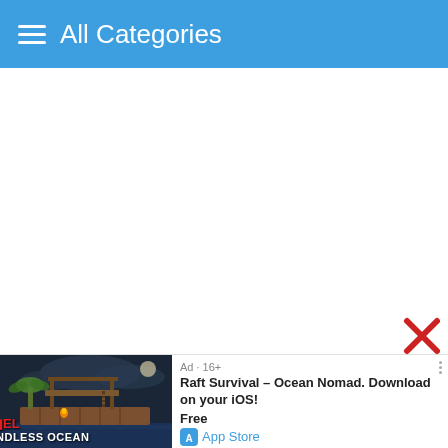All Categories
[Figure (screenshot): Raft survival game screenshot showing a wooden raft structure at night with fire, palm trees, and ocean. Text overlay reads 'LEVEL ENDLESS OCEAN']
Ad · 16+
Raft Survival – Ocean Nomad. Download on your iOS!
Free
App Store
Get